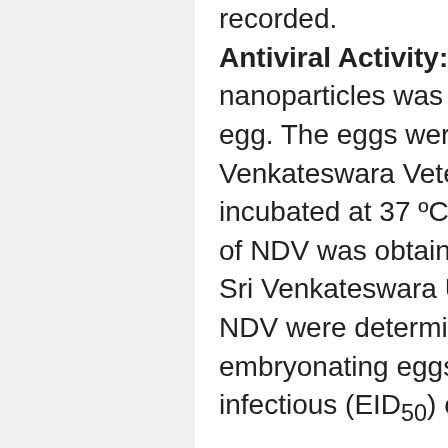recorded. Antiviral Activity: Anti-viral activity of silver nanoparticles was tested in an embryonated chicken egg. The eggs were obtained from Poultry Division, Sri Venkateswara Veterinary University, Tirupati and were incubated at 37 ºC in an egg incubator. Lasota strain of NDV was obtained from the Department of Virology, Sri Venkateswara University, Tirupati. Titers of the NDV were determined by inoculating chick embryonating eggs and calculated median egg infectious (EID50) of the virus as per the method of